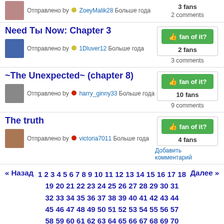Отправлено by ZoeyMalik28 Больше года
3 fans
2 comments
Need Ты Now: Chapter 3
Отправлено by 1Dluver12 Больше года
2 fans
3 comments
~The Unexpected~ (chapter 8)
Отправлено by harry_ginny33 Больше года
10 fans
9 comments
The truth
Отправлено by victoria7011 Больше года
4 fans
Добавить комментарий
« Назад  1 2 3 4 5 6 7 8 9 10 11 12 13 14 15 16 17 18 19 20 21 22 23 24 25 26 27 28 29 30 31 32 33 34 35 36 37 38 39 40 41 42 43 44 45 46 47 48 49 50 51 52 53 54 55 56 57 58 59 60 61 62 63 64 65 66 67 68 69 70 71 72 73 74 75 76 77 78 79 80 81 82 83 84 85 86 87 88 89 90 91 92 93 94 95 96 97  Далее »